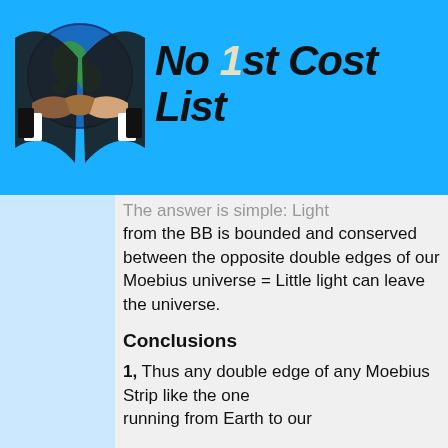[Figure (logo): Logo with globe and handshake image]
No 1st Cost List
The answer is simple: Light from the BB is bounded and conserved between the opposite double edges of our Moebius universe = Little light can leave the universe.
Conclusions
1, Thus any double edge of any Moebius Strip like the one running from Earth to our